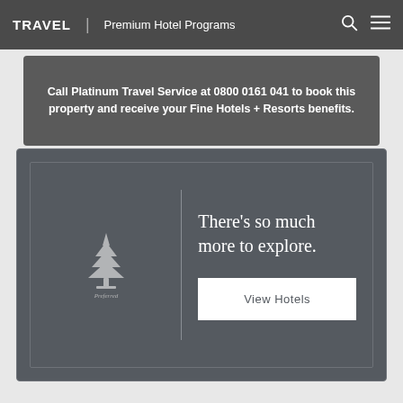TRAVEL | Premium Hotel Programs
Call Platinum Travel Service at 0800 0161 041 to book this property and receive your Fine Hotels + Resorts benefits.
[Figure (logo): Preferred Hotels & Resorts logo in white on dark gray background]
There’s so much more to explore.
View Hotels